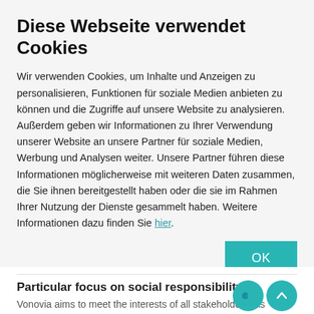Diese Webseite verwendet Cookies
Wir verwenden Cookies, um Inhalte und Anzeigen zu personalisieren, Funktionen für soziale Medien anbieten zu können und die Zugriffe auf unsere Website zu analysieren. Außerdem geben wir Informationen zu Ihrer Verwendung unserer Website an unsere Partner für soziale Medien, Werbung und Analysen weiter. Unsere Partner führen diese Informationen möglicherweise mit weiteren Daten zusammen, die Sie ihnen bereitgestellt haben oder die sie im Rahmen Ihrer Nutzung der Dienste gesammelt haben. Weitere Informationen dazu finden Sie hier.
[Figure (screenshot): Cookie consent options bar with checkboxes for Notwendig (checked), Präferenzen (unchecked), Statistiken (unchecked), Marketing (unchecked), and a 'Details zeigen' button with teal chevron on the right.]
Particular focus on social responsibility
Vonovia aims to meet the interests of all stakeholders. As